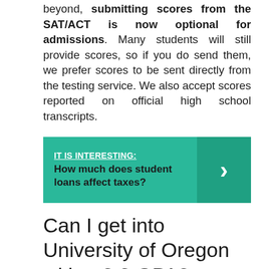beyond, submitting scores from the SAT/ACT is now optional for admissions. Many students will still provide scores, so if you do send them, we prefer scores to be sent directly from the testing service. We also accept scores reported on official high school transcripts.
[Figure (infographic): Teal banner with label 'IT IS INTERESTING:' and question 'How much does student loans affect taxes?' with a right-arrow chevron on the right side.]
Can I get into University of Oregon with a 3.3 GPA?
If you have a GPA of at least 3.0, there is no minimum SAT or ACT score. If your GPA is lower than 3.0, there are minimum SAT/ACT